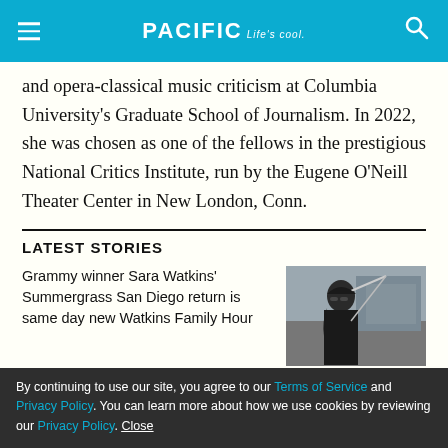PACIFIC Life's cool
and opera-classical music criticism at Columbia University's Graduate School of Journalism. In 2022, she was chosen as one of the fellows in the prestigious National Critics Institute, run by the Eugene O'Neill Theater Center in New London, Conn.
LATEST STORIES
Grammy winner Sara Watkins' Summergrass San Diego return is same day new Watkins Family Hour
[Figure (photo): Photo of Sara Watkins holding a violin, wearing glasses and dark clothing, outdoors.]
By continuing to use our site, you agree to our Terms of Service and Privacy Policy. You can learn more about how we use cookies by reviewing our Privacy Policy. Close